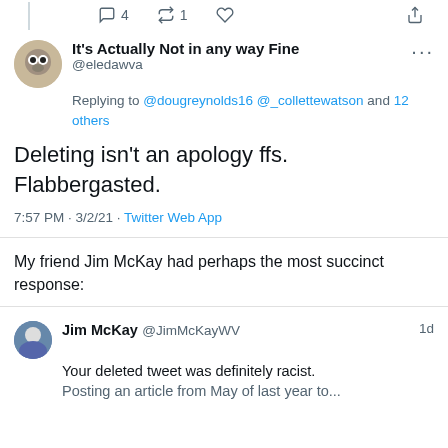[Figure (screenshot): Twitter engagement icons row: comment count 4, retweet count 1, heart icon, share icon]
[Figure (screenshot): Tweet by @eledawva ('It's Actually Not in any way Fine') replying to @dougreynolds16 @_collettewatson and 12 others: 'Deleting isn't an apology ffs. Flabbergasted.' posted 7:57 PM · 3/2/21 · Twitter Web App]
My friend Jim McKay had perhaps the most succinct response:
[Figure (screenshot): Tweet by Jim McKay @JimMcKayWV posted 1d ago: 'Your deleted tweet was definitely racist. Posting an article from May of last year to...' (truncated)]